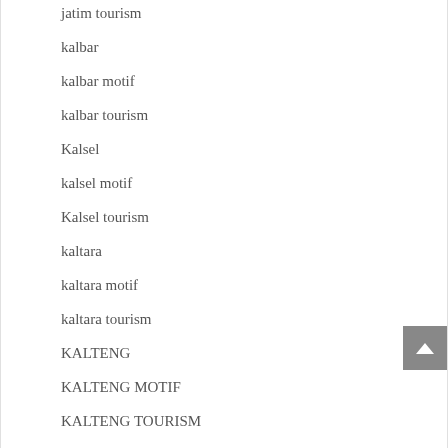jatim tourism
kalbar
kalbar motif
kalbar tourism
Kalsel
kalsel motif
Kalsel tourism
kaltara
kaltara motif
kaltara tourism
KALTENG
KALTENG MOTIF
KALTENG TOURISM